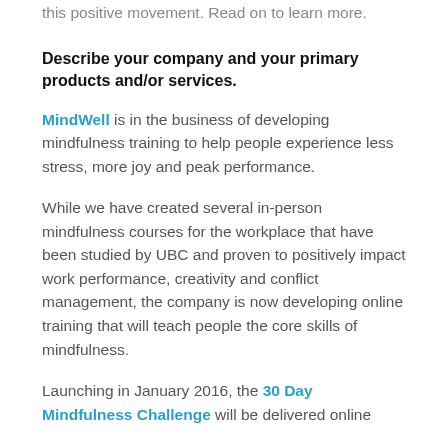this positive movement. Read on to learn more.
Describe your company and your primary products and/or services.
MindWell is in the business of developing mindfulness training to help people experience less stress, more joy and peak performance.
While we have created several in-person mindfulness courses for the workplace that have been studied by UBC and proven to positively impact work performance, creativity and conflict management, the company is now developing online training that will teach people the core skills of mindfulness.
Launching in January 2016, the 30 Day Mindfulness Challenge will be delivered online